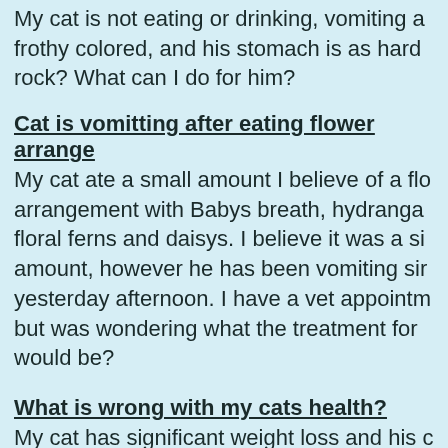My cat is not eating or drinking, vomiting and frothy colored, and his stomach is as hard as a rock? What can I do for him?
Cat is vomitting after eating flower arrangement
My cat ate a small amount I believe of a floral arrangement with Babys breath, hydrangea, floral ferns and daisys. I believe it was a small amount, however he has been vomiting since yesterday afternoon. I have a vet appointment but was wondering what the treatment for this would be?
What is wrong with my cats health?
My cat has significant weight loss and his coat has thinned tremendously. He is also depressed. But other than that he is in good shape. What could be causing this?